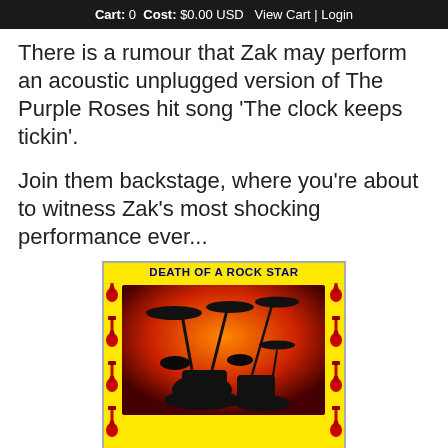Cart: 0 Cost: $0.00 USD  View Cart | Login
There is a rumour that Zak may perform an acoustic unplugged version of The Purple Roses hit song ‘The clock keeps tickin’.
Join them backstage, where you’re about to witness Zak’s most shocking performance ever...
[Figure (illustration): Book/product cover for 'DEATH OF A ROCK STAR' — yellow background with red guitar icons around the border, a dark dramatic drum kit silhouette image in the center, with a smaller thumbnail version below.]